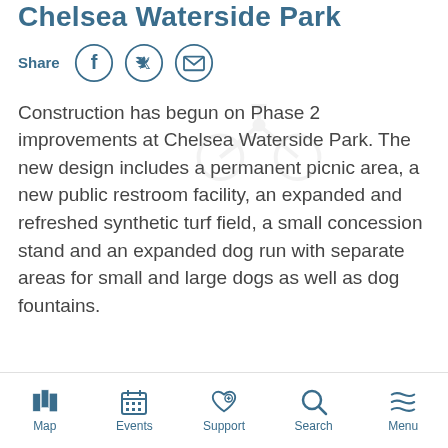Chelsea Waterside Park
[Figure (infographic): Share row with Facebook, Twitter, and email icon buttons]
Construction has begun on Phase 2 improvements at Chelsea Waterside Park. The new design includes a permanent picnic area, a new public restroom facility, an expanded and refreshed synthetic turf field, a small concession stand and an expanded dog run with separate areas for small and large dogs as well as dog fountains.
Map | Events | Support | Search | Menu